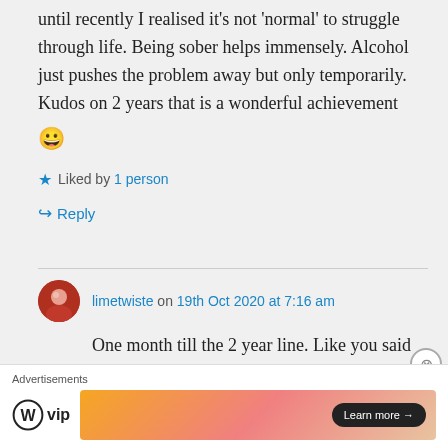until recently I realised it's not 'normal' to struggle through life. Being sober helps immensely. Alcohol just pushes the problem away but only temporarily. Kudos on 2 years that is a wonderful achievement 😀
★ Liked by 1 person
↪ Reply
limetwiste on 19th Oct 2020 at 7:16 am
One month till the 2 year line. Like you said alcohol gave me breathing
Advertisements
[Figure (logo): WordPress VIP logo and advertisement banner with Learn more button]